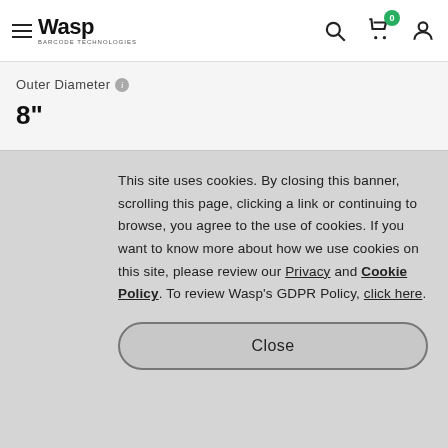Wasp Barcode Technologies
Outer Diameter
8"
This site uses cookies. By closing this banner, scrolling this page, clicking a link or continuing to browse, you agree to the use of cookies. If you want to know more about how we use cookies on this site, please review our Privacy and Cookie Policy. To review Wasp's GDPR Policy, click here.
Close